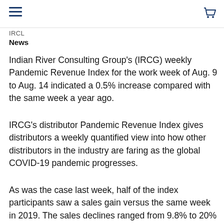IRCL
News
Indian River Consulting Group's (IRCG) weekly Pandemic Revenue Index for the work week of Aug. 9 to Aug. 14 indicated a 0.5% increase compared with the same week a year ago.
IRCG's distributor Pandemic Revenue Index gives distributors a weekly quantified view into how other distributors in the industry are faring as the global COVID-19 pandemic progresses.
As was the case last week, half of the index participants saw a sales gain versus the same week in 2019. The sales declines ranged from 9.8% to 20% while the increases ranged from 2% to 39.7%. Over the last few weeks, what stems were noticed...